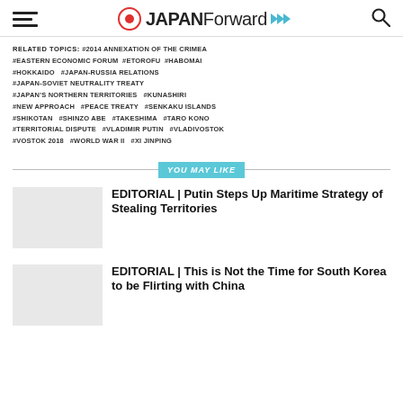JAPAN Forward
RELATED TOPICS: #2014 ANNEXATION OF THE CRIMEA #EASTERN ECONOMIC FORUM #ETOROFU #HABOMAI #HOKKAIDO #JAPAN-RUSSIA RELATIONS #JAPAN-SOVIET NEUTRALITY TREATY #JAPAN'S NORTHERN TERRITORIES #KUNASHIRI #NEW APPROACH #PEACE TREATY #SENKAKU ISLANDS #SHIKOTAN #SHINZO ABE #TAKESHIMA #TARO KONO #TERRITORIAL DISPUTE #VLADIMIR PUTIN #VLADIVOSTOK #VOSTOK 2018 #WORLD WAR II #XI JINPING
YOU MAY LIKE
EDITORIAL | Putin Steps Up Maritime Strategy of Stealing Territories
EDITORIAL | This is Not the Time for South Korea to be Flirting with China